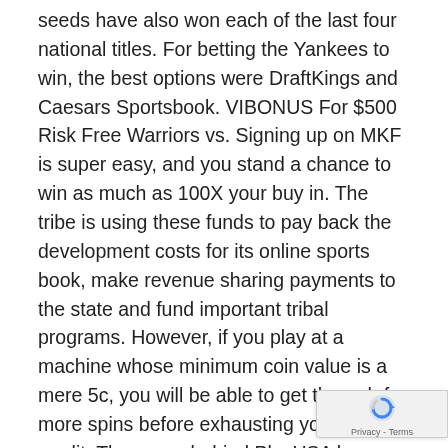seeds have also won each of the last four national titles. For betting the Yankees to win, the best options were DraftKings and Caesars Sportsbook. VIBONUS For $500 Risk Free Warriors vs. Signing up on MKF is super easy, and you stand a chance to win as much as 100X your buy in. The tribe is using these funds to pay back the development costs for its online sports book, make revenue sharing payments to the state and fund important tribal programs. However, if you play at a machine whose minimum coin value is a mere 5c, you will be able to get through far more spins before exhausting your allowed credit. The group behind PlayUSA has more than 15 years of experience in the industry. With that said, it'd be surprising if this list doesn't grow over the years. The issue: Some banks don't want their cards used for regulated online casino transactions. Below are some frequently asked questions that new gamblers have regarding real money online casinos. They can wager on all types of sports from soccer, basketball and ice
[Figure (other): reCAPTCHA privacy badge with rotating arrow icon and 'Privacy - Terms' label]